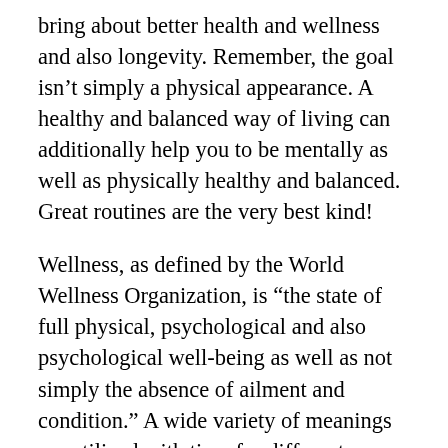bring about better health and wellness and also longevity. Remember, the goal isn't simply a physical appearance. A healthy and balanced way of living can additionally help you to be mentally as well as physically healthy and balanced. Great routines are the very best kind!
Wellness, as defined by the World Wellness Organization, is “the state of full physical, psychological and also psychological well-being as well as not simply the absence of ailment and condition.” A wide variety of meanings are utilized with time for different objectives. Mental health and wellness describes one’s ability for handling emotional discomfort and also distress as it takes place.